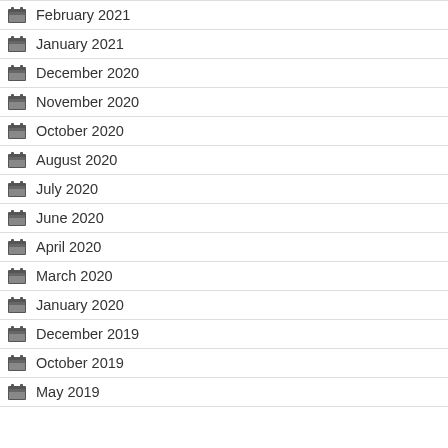February 2021
January 2021
December 2020
November 2020
October 2020
August 2020
July 2020
June 2020
April 2020
March 2020
January 2020
December 2019
October 2019
May 2019